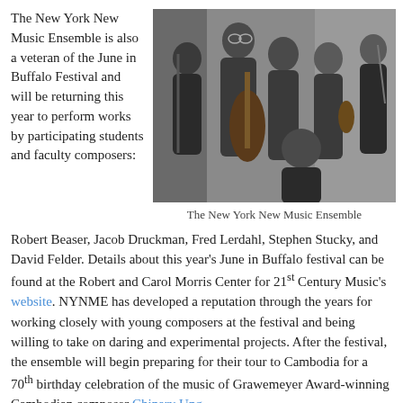The New York New Music Ensemble is also a veteran of the June in Buffalo Festival and will be returning this year to perform works by participating students and faculty composers:
[Figure (photo): Black and white group photo of the New York New Music Ensemble, six musicians holding instruments including cello, violin, and woodwinds.]
The New York New Music Ensemble
Robert Beaser, Jacob Druckman, Fred Lerdahl, Stephen Stucky, and David Felder. Details about this year's June in Buffalo festival can be found at the Robert and Carol Morris Center for 21st Century Music's website. NYNME has developed a reputation through the years for working closely with young composers at the festival and being willing to take on daring and experimental projects. After the festival, the ensemble will begin preparing for their tour to Cambodia for a 70th birthday celebration of the music of Grawemeyer Award-winning Cambodian composer Chinary Ung.